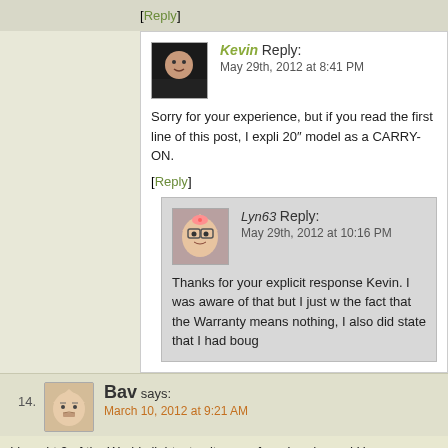[Reply]
Kevin Reply:
May 29th, 2012 at 8:41 PM
Sorry for your experience, but if you read the first line of this post, I expli... 20″ model as a CARRY-ON.
[Reply]
Lyn63 Reply:
May 29th, 2012 at 10:16 PM
Thanks for your explicit response Kevin. I was aware of that but I just w... the fact that the Warranty means nothing, I also did state that I had boug...
14. Bav says:
March 10, 2012 at 9:21 AM
I bought 2 of the Worlds lightest suitcases, from Landor and Hawa luggage, a... packed my bags, I regretted buying them. The reason they are so light is beca... cannot take the wear and tear of travel. After one trip abroad the suitcase is ri... are protrude through the suitcase due to the thin material and there is no strech... b... t... O... t... f... l did... 2... b... t... It is j t... t I... d H...